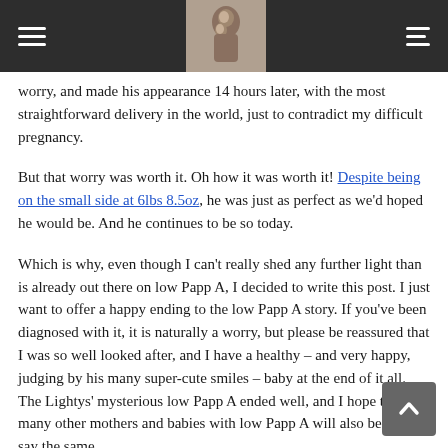[Navigation header with hamburger menu, photo, and list icon]
worry, and made his appearance 14 hours later, with the most straightforward delivery in the world, just to contradict my difficult pregnancy.
But that worry was worth it. Oh how it was worth it! Despite being on the small side at 6lbs 8.5oz, he was just as perfect as we'd hoped he would be. And he continues to be so today.
Which is why, even though I can't really shed any further light than is already out there on low Papp A, I decided to write this post. I just want to offer a happy ending to the low Papp A story. If you've been diagnosed with it, it is naturally a worry, but please be reassured that I was so well looked after, and I have a healthy – and very happy, judging by his many super-cute smiles – baby at the end of it all. The Lightys' mysterious low Papp A ended well, and I hope that many other mothers and babies with low Papp A will also be able to say the same.
Please note: I am obviously not a medical expert